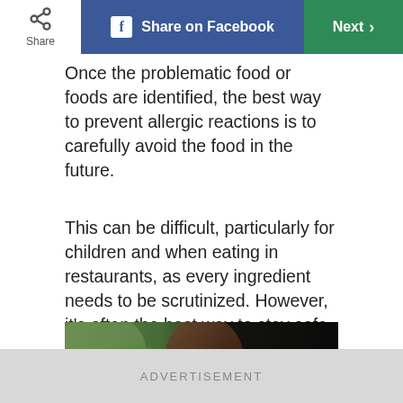Share | Share on Facebook | Next
Once the problematic food or foods are identified, the best way to prevent allergic reactions is to carefully avoid the food in the future.
This can be difficult, particularly for children and when eating in restaurants, as every ingredient needs to be scrutinized. However, it’s often the best way to stay safe.
[Figure (photo): Close-up portrait photo of a person's face, partially in shadow, with green blurred background]
ADVERTISEMENT